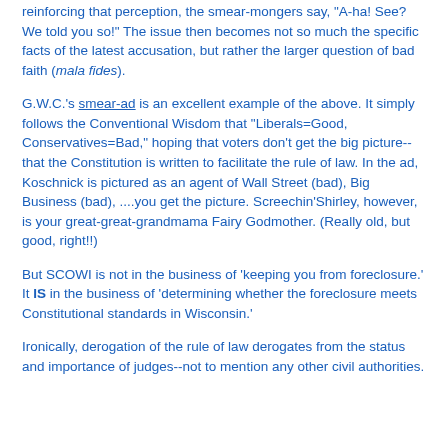reinforcing that perception, the smear-mongers say, 'A-ha! See? We told you so!' The issue then becomes not so much the specific facts of the latest accusation, but rather the larger question of bad faith (mala fides).
G.W.C.'s smear-ad is an excellent example of the above. It simply follows the Conventional Wisdom that "Liberals=Good, Conservatives=Bad," hoping that voters don't get the big picture--that the Constitution is written to facilitate the rule of law. In the ad, Koschnick is pictured as an agent of Wall Street (bad), Big Business (bad), ....you get the picture. Screechin'Shirley, however, is your great-great-grandmama Fairy Godmother. (Really old, but good, right!!)
But SCOWI is not in the business of 'keeping you from foreclosure.' It IS in the business of 'determining whether the foreclosure meets Constitutional standards in Wisconsin.'
Ironically, derogation of the rule of law derogates from the status and importance of judges--not to mention any other civil authorities.